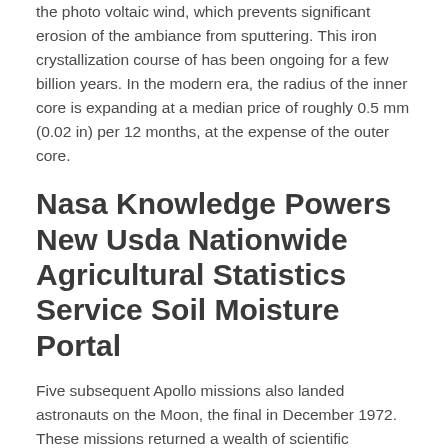the photo voltaic wind, which prevents significant erosion of the ambiance from sputtering. This iron crystallization course of has been ongoing for a few billion years. In the modern era, the radius of the inner core is expanding at a median price of roughly 0.5 mm (0.02 in) per 12 months, at the expense of the outer core.
Nasa Knowledge Powers New Usda Nationwide Agricultural Statistics Service Soil Moisture Portal
Five subsequent Apollo missions also landed astronauts on the Moon, the final in December 1972. These missions returned a wealth of scientific information and 381.7 kilograms of lunar samples. Topics lined by experiments carried out included soil mechanics, meteoroids, seismology, warmth flow, lunar ranging, magnetic fields, and photo voltaic wind.